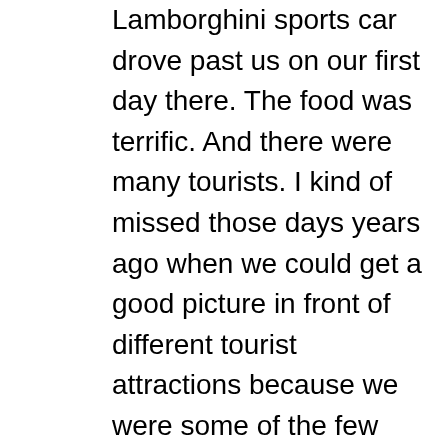Lamborghini sports car drove past us on our first day there. The food was terrific. And there were many tourists. I kind of missed those days years ago when we could get a good picture in front of different tourist attractions because we were some of the few people there. But I was very happy for the country. People were busy with their lives. Things aren't perfect. In fact, there were demonstrations there this summer protesting the president who has been accused of corruption. But the demonstrations were different. No one was afraid of a heavy-handed police